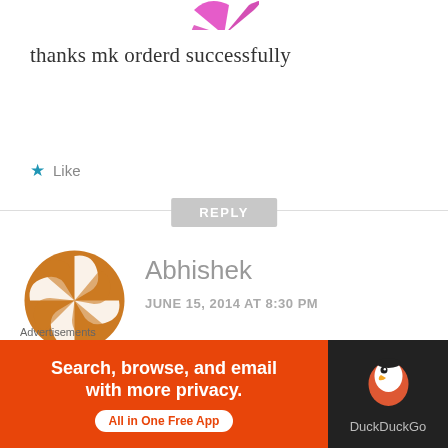[Figure (illustration): Partial avatar image at top, pink/magenta decorative circular logo, partially cropped]
thanks mk orderd successfully
★ Like
REPLY
[Figure (illustration): Abhishek commenter avatar - orange geometric pinwheel/star pattern circle]
Abhishek
JUNE 15, 2014 AT 8:30 PM
plz plz plz let me knw when the next stock of moto E is going to come on flipkart....
Advertisements
[Figure (screenshot): DuckDuckGo advertisement banner: orange left panel with text 'Search, browse, and email with more privacy. All in One Free App', dark right panel with DuckDuckGo duck logo]